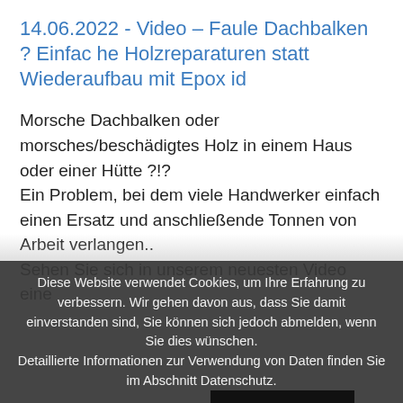14.06.2022 - Video – Faule Dachbalken ? Einfache Holzreparaturen statt Wiederaufbau mit Epoxid
Morsche Dachbalken oder morsches/beschädigtes Holz in einem Haus oder einer Hütte ?!?
Ein Problem, bei dem viele Handwerker einfach einen Ersatz und anschließende Tonnen von Arbeit verlangen..
Sehen Sie sich in unserem neuesten Video eine
Diese Website verwendet Cookies, um Ihre Erfahrung zu verbessern. Wir gehen davon aus, dass Sie damit einverstanden sind, Sie können sich jedoch abmelden, wenn Sie dies wünschen.
Detaillierte Informationen zur Verwendung von Daten finden Sie im Abschnitt Datenschutz.
Cookie-Einstellungen
AKZEPTIEREN